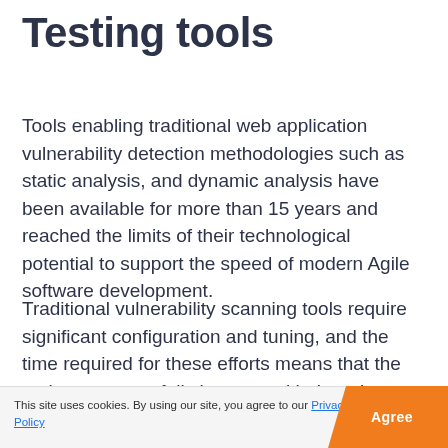Testing tools
Tools enabling traditional web application vulnerability detection methodologies such as static analysis, and dynamic analysis have been available for more than 15 years and reached the limits of their technological potential to support the speed of modern Agile software development.
Traditional vulnerability scanning tools require significant configuration and tuning, and the time required for these efforts means that the tools cannot usefully keep up with the release cycles made possible by DevOps and automated integration and delivery environments.
This site uses cookies. By using our site, you agree to our Privacy and Cookie Policy   Agree